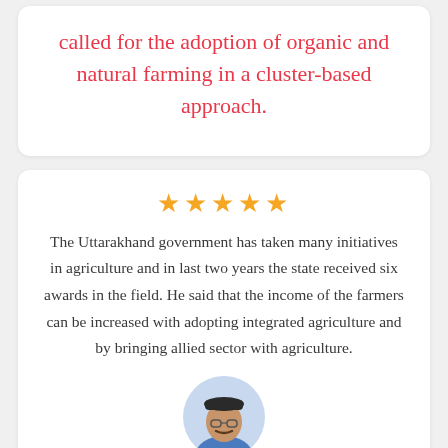called for the adoption of organic and natural farming in a cluster-based approach.
[Figure (other): Five gold star rating icons arranged in a row]
The Uttarakhand government has taken many initiatives in agriculture and in last two years the state received six awards in the field. He said that the income of the farmers can be increased with adopting integrated agriculture and by bringing allied sector with agriculture.
[Figure (photo): Headshot photo of a man wearing a dark cap and blue traditional Indian attire]